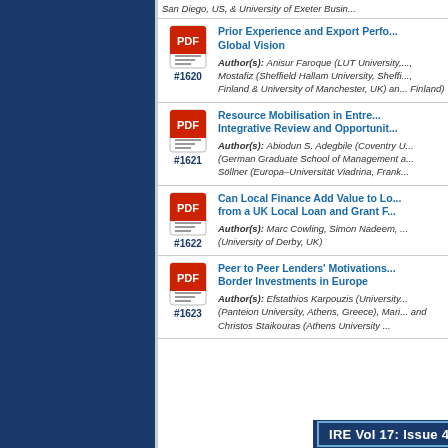San Diego, US, & University of Exeter Busin...
#1620 Prior Experience and Export Perfo... Global Vision. Author(s): Anisur Faroque (LUT University,...), Mostafiz (Sheffield Hallam University, Sheffi..., Finland & University of Manchester, UK) and... Finland)
#1621 Resource Mobilisation in Entre... Integrative Review and Opportunit... Author(s): Abiodun S. Adegbile (Coventry U...) (German Graduate School of Management a...) Söllner (Europa–Universität Viadrina, Frank...)
#1622 Can Local Finance Add Value to Lo... from a UK Local Loan and Grant F... Author(s): Marc Cowling, Simon Nadeem, ... (University of Derby, UK)
#1623 Peer to Peer Lenders' Motivations... Border Investments in Europe. Author(s): Efstathios Karpouzis (University...) (Panteion University, Athens, Greece), Mari... and Christos Staikouras (Athens University ...)
IRE Vol 17: Issue 4, 2019